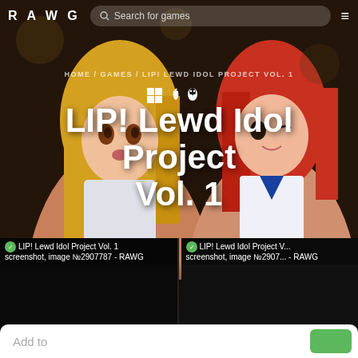RAWG | Search for games
HOME / GAMES / LIP! LEWD IDOL PROJECT VOL. 1
[Figure (illustration): Platform icons: Windows, Apple, Linux]
LIP! Lewd Idol Project Vol. 1
[Figure (screenshot): LIP! Lewd Idol Project Vol. 1 screenshot, image №2907787 - RAWG]
[Figure (screenshot): LIP! Lewd Idol Project Vol. 1 screenshot, image №2907... - RAWG]
Add to